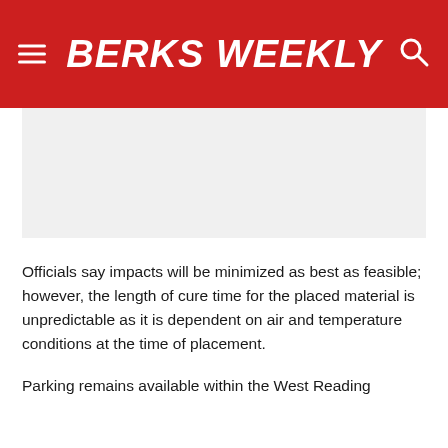BERKS WEEKLY
Officials say impacts will be minimized as best as feasible; however, the length of cure time for the placed material is unpredictable as it is dependent on air and temperature conditions at the time of placement.
Parking remains available within the West Reading